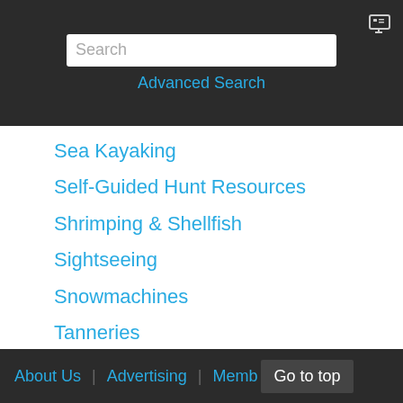Search | Advanced Search
Sea Kayaking
Self-Guided Hunt Resources
Shrimping & Shellfish
Sightseeing
Snowmachines
Tanneries
Taxidermists
Tools
Transporters Fishing
Transporters Hunting
Trip Planners
Water Taxi
Winter Sports
About Us | Advertising | Memb  Go to top